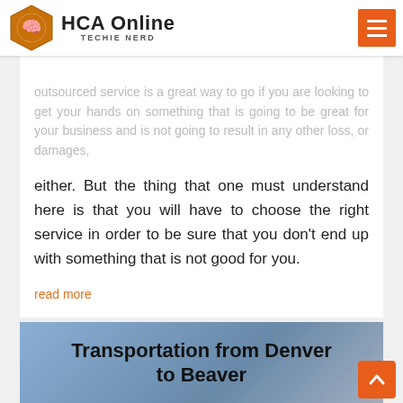HCA Online — TECHIE NERD
outsourced service is a great way to go if you are looking to get your hands on something that is going to be great for your business and is not going to result in any other loss, or damages, either. But the thing that one must understand here is that you will have to choose the right service in order to be sure that you don't end up with something that is not good for you.
read more
Transportation from Denver to Beaver